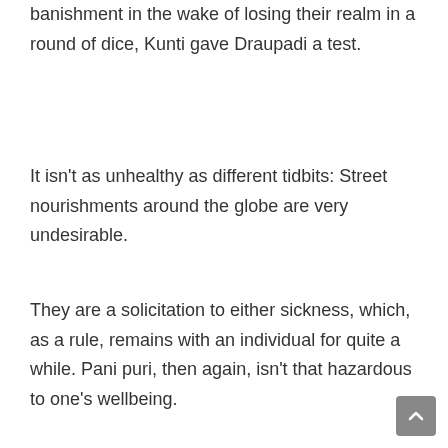banishment in the wake of losing their realm in a round of dice, Kunti gave Draupadi a test.
It isn't as unhealthy as different tidbits: Street nourishments around the globe are very undesirable.
They are a solicitation to either sickness, which, as a rule, remains with an individual for quite a while. Pani puri, then again, isn't that hazardous to one's wellbeing.